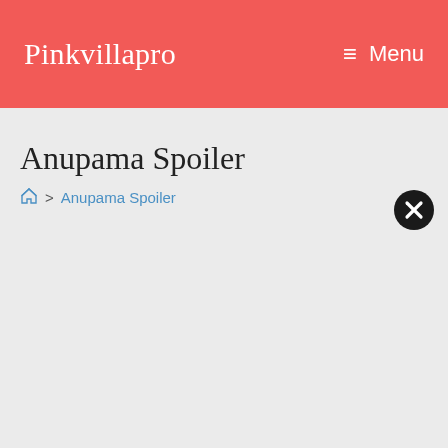Pinkvillapro  ≡ Menu
Anupama Spoiler
🏠 > Anupama Spoiler
[Figure (other): Black circle close/dismiss button with white X symbol]